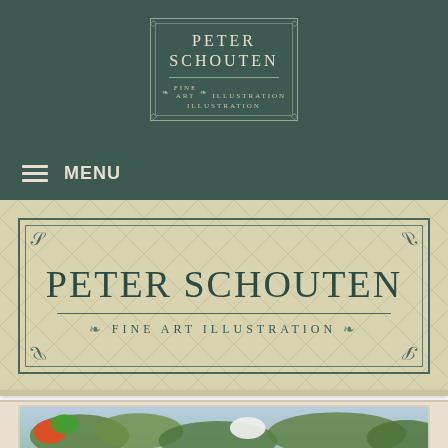[Figure (logo): Peter Schouten Fine Art Illustration logo in decorative border box, small version in dark teal header]
MENU
[Figure (logo): Peter Schouten Fine Art Illustration large banner logo with ornamental border on cream diamond-pattern background]
[Figure (illustration): Partial view of a bird illustration showing parrots (green and orange/red) and a white bird among tropical foliage]